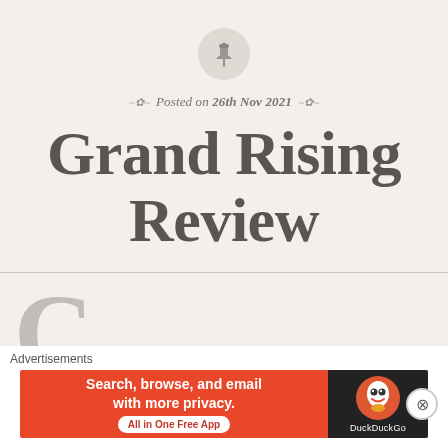[Figure (illustration): A circular grey pin/pushpin icon centered on page]
Posted on 26th Nov 2021
Grand Rising Review
C (large drop cap letter, start of article body)
Advertisements
[Figure (other): DuckDuckGo advertisement banner: 'Search, browse, and email with more privacy. All in One Free App' with DuckDuckGo logo on dark background]